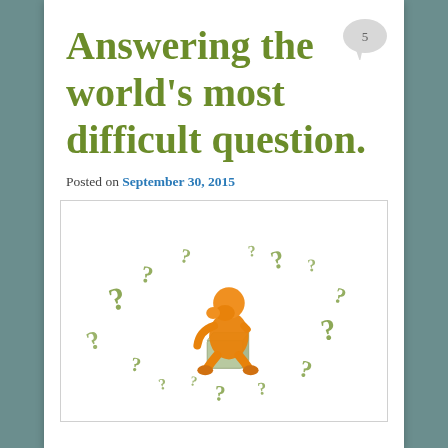Answering the world’s most difficult question.
Posted on September 30, 2015
[Figure (illustration): An orange 3D figure sitting hunched on a small cube, surrounded by numerous green 3D question marks scattered around on the floor.]